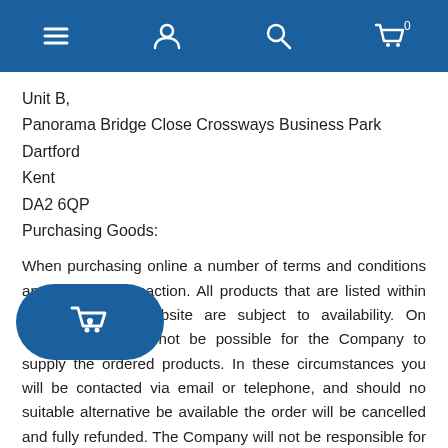Navigation bar with menu, user, search, and cart icons
Unit B,
Panorama Bridge Close Crossways Business Park
Dartford
Kent
DA2 6QP
Purchasing Goods:
When purchasing online a number of terms and conditions apply to the transaction. All products that are listed within the Company's website are subject to availability. On occasions, it may not be possible for the Company to supply the ordered products. In these circumstances you will be contacted via email or telephone, and should no suitable alternative be available the order will be cancelled and fully refunded. The Company will not be responsible for compensating you for any losses which you may suffer if the Company does not supply the products that have